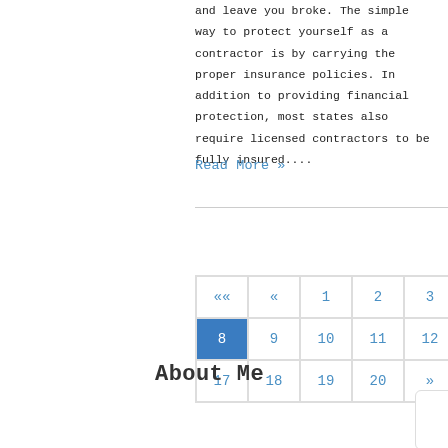and leave you broke. The simple way to protect yourself as a contractor is by carrying the proper insurance policies. In addition to providing financial protection, most states also require licensed contractors to be fully insured....
Read More »
| «« | « | 1 | 2 | 3 | 4 | 5 | 6 | 7 |
| --- | --- | --- | --- | --- | --- | --- | --- | --- |
| 8 | 9 | 10 | 11 | 12 | 13 | 14 | 15 | 16 |
| 17 | 18 | 19 | 20 | » | »» |  |  |  |
About Me
[Figure (illustration): Avatar illustration of a person in a white shirt and blue tie, generic profile image]